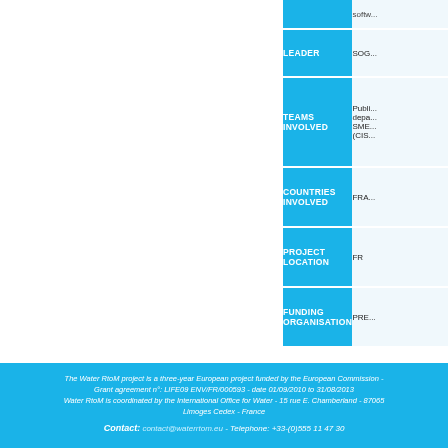| Label | Content |
| --- | --- |
|  | softw... |
| LEADER | SOG... |
| TEAMS INVOLVED | Publi... depa... SME... (CIS... |
| COUNTRIES INVOLVED | FRA... |
| PROJECT LOCATION | FR |
| FUNDING ORGANISATION | PRE... |
The Water RtoM project is a three-year European project funded by the European Commission - Grant agreement n°: LIFE09 ENV/FR/000593 - date 01/09/2010 to 31/08/2013 Water RtoM is coordinated by the International Office for Water - 15 rue E. Chamberland - 87065 Limoges Cedex - France Contact: contact@waterrtom.eu - Telephone: +33-(0)555 11 47 30